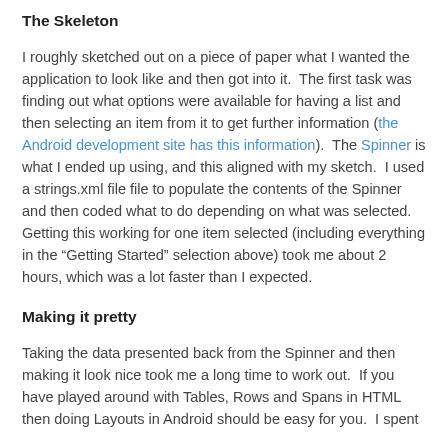The Skeleton
I roughly sketched out on a piece of paper what I wanted the application to look like and then got into it.  The first task was finding out what options were available for having a list and then selecting an item from it to get further information (the Android development site has this information).  The Spinner is what I ended up using, and this aligned with my sketch.  I used a strings.xml file file to populate the contents of the Spinner and then coded what to do depending on what was selected.  Getting this working for one item selected (including everything in the “Getting Started” selection above) took me about 2 hours, which was a lot faster than I expected.
Making it pretty
Taking the data presented back from the Spinner and then making it look nice took me a long time to work out.  If you have played around with Tables, Rows and Spans in HTML then doing Layouts in Android should be easy for you.  I spent